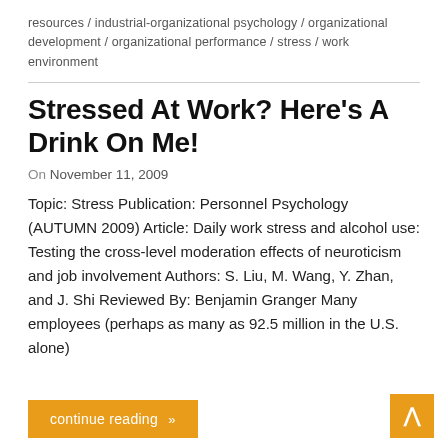resources / industrial-organizational psychology / organizational development / organizational performance / stress / work environment
Stressed At Work? Here's A Drink On Me!
On November 11, 2009
Topic: Stress Publication: Personnel Psychology (AUTUMN 2009) Article: Daily work stress and alcohol use: Testing the cross-level moderation effects of neuroticism and job involvement Authors: S. Liu, M. Wang, Y. Zhan, and J. Shi Reviewed By: Benjamin Granger Many employees (perhaps as many as 92.5 million in the U.S. alone)
continue reading »